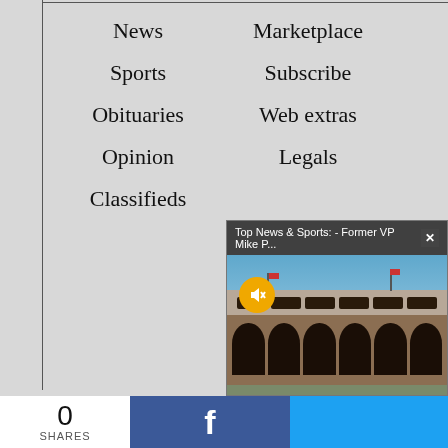News
Marketplace
Sports
Subscribe
Obituaries
Web extras
Opinion
Legals
Classifieds
[Figure (screenshot): Video popup showing a stadium building photo with title 'Top News & Sports: - Former VP Mike P...' and a close button, with a mute button overlay on the video]
0 SHARES